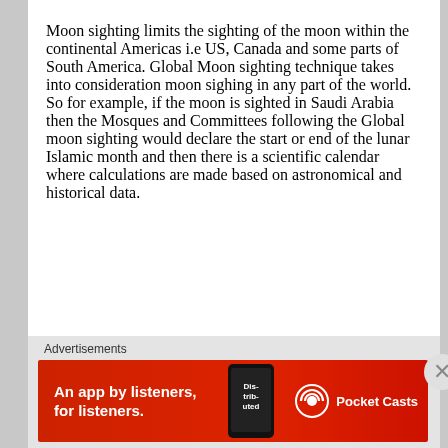Moon sighting limits the sighting of the moon within the continental Americas i.e US, Canada and some parts of South America. Global Moon sighting technique takes into consideration moon sighing in any part of the world. So for example, if the moon is sighted in Saudi Arabia then the Mosques and Committees following the Global moon sighting would declare the start or end of the lunar Islamic month and then there is a scientific calendar where calculations are made based on astronomical and historical data.
Continue reading »
Advertisements
[Figure (infographic): Advertisement banner for Pocket Casts app: red background with text 'An app by listeners, for listeners.' and Pocket Casts logo on the right, with a phone image showing 'Distributed' podcast app in the center-right.]